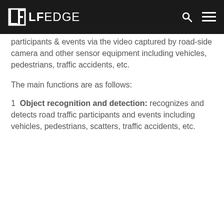LF EDGE
participants & events via the video captured by road-side camera and other sensor equipment including vehicles, pedestrians, traffic accidents, etc.
The main functions are as follows:
1  Object recognition and detection: recognizes and detects road traffic participants and events including vehicles, pedestrians, scatters, traffic accidents, etc.